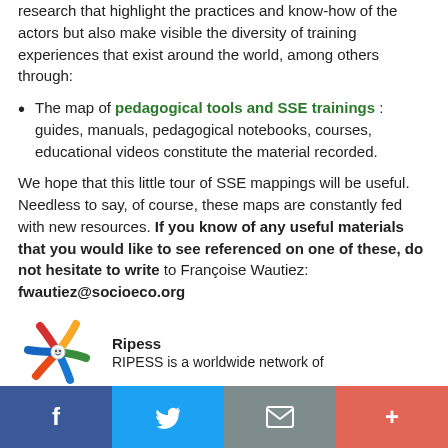research that highlight the practices and know-how of the actors but also make visible the diversity of training experiences that exist around the world, among others through:
The map of pedagogical tools and SSE trainings : guides, manuals, pedagogical notebooks, courses, educational videos constitute the material recorded.
We hope that this little tour of SSE mappings will be useful. Needless to say, of course, these maps are constantly fed with new resources. If you know of any useful materials that you would like to see referenced on one of these, do not hesitate to write to Françoise Wautiez: fwautiez@socioeco.org
[Figure (logo): Ripess logo with colorful star-like graphic]
Ripess
RIPESS is a worldwide network of
Facebook | Twitter | Email | Plus